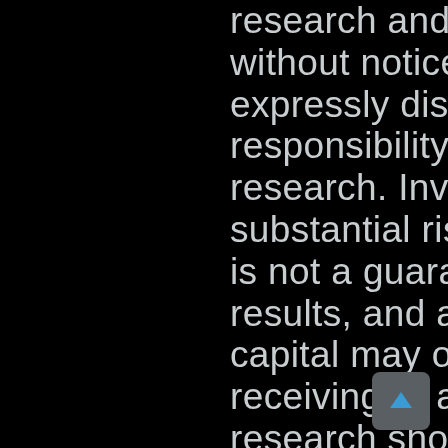research and is subject to change without notice. Further, we expressly disclaim any responsibility to update such research. Investing involves substantial risk. Past performance is not a guarantee of future results, and a loss of original capital may occur. No one receiving or accessing our research should make any investment decision without first consulting his or her own personal financial advisor and conducting his or her own research and due diligence, including carefully reviewing any applicable prospectuses, press releases, reports and other public